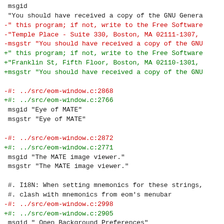diff/patch code listing showing msgid/msgstr changes with line number references in eom-window.c